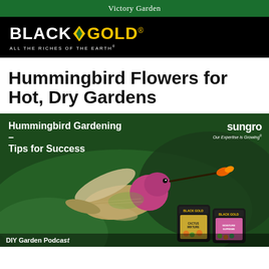Victory Garden
[Figure (logo): Black Gold logo on black background. Text reads BLACK GOLD with a leaf icon and tagline ALL THE RICHES OF THE EARTH]
Hummingbird Flowers for Hot, Dry Gardens
[Figure (photo): Promotional image showing a hummingbird in flight feeding from an orange flower, with text overlay reading Hummingbird Gardening – Tips for Success and the sungro logo. Two Black Gold soil product bags visible in the bottom right corner.]
DIY Garden Podcast